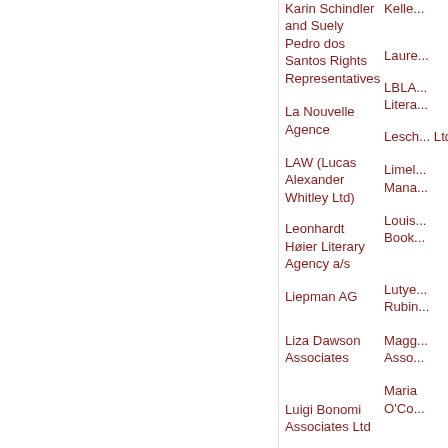Karin Schindler and Suely Pedro dos Santos Rights Representatives
Keller...
La Nouvelle Agence
Laure...
LAW (Lucas Alexander Whitley Ltd)
LBLA... Litera...
Leonhardt Høier Literary Agency a/s
Lesch... Ltd
Liepman AG
Limel... Mana...
Liza Dawson Associates
Louis... Book...
Luigi Bonomi Associates Ltd
Lutye... Rubin...
Madeleine Milburn Literary, TV & Film Agency Address
Magg... Asso...
Maria Carvainis Agency Inc.
Maria O'Co...